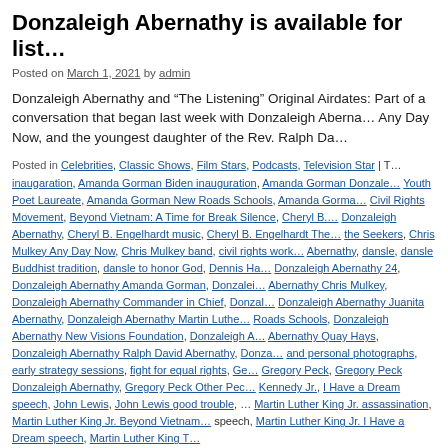Donzaleigh Abernathy is available for list…
Posted on March 1, 2021 by admin
Donzaleigh Abernathy and “The Listening” Original Airdates: Part of a conversation that began last week with Donzaleigh Abernathy, Any Day Now, and the youngest daughter of the Rev. Ralph Da…
Posted in Celebrities, Classic Shows, Film Stars, Podcasts, Television Star | Tags: inaugaration, Amanda Gorman Biden inauguration, Amanda Gorman Donzale… Youth Poet Laureate, Amanda Gorman New Roads Schools, Amanda Gorma… Civil Rights Movement, Beyond Vietnam: A Time for Break Silence, Cheryl B.… Donzaleigh Abernathy, Cheryl B. Engelhardt music, Cheryl B. Engelhardt The… the Seekers, Chris Mulkey Any Day Now, Chris Mulkey band, civil rights work… Abernathy, dansle, dansle Buddhist tradition, dansle to honor God, Dennis Ha… Donzaleigh Abernathy 24, Donzaleigh Abernathy Amanda Gorman, Donzalei… Abernathy Chris Mulkey, Donzaleigh Abernathy Commander in Chief, Donzal… Donzaleigh Abernathy Juanita Abernathy, Donzaleigh Abernathy Martin Luthe… Roads Schools, Donzaleigh Abernathy New Visions Foundation, Donzaleigh … Abernathy Quay Hays, Donzaleigh Abernathy Ralph David Abernathy, Donza… and personal photographs, early strategy sessions, fight for equal rights, Ge… Gregory Peck, Gregory Peck Donzaleigh Abernathy, Gregory Peck Other Pec… Kennedy Jr., I Have a Dream speech, John Lewis, John Lewis good trouble, … Martin Luther King Jr. assassination, Martin Luther King Jr. Beyond Vietnam… speech, Martin Luther King Jr. I Have a Dream speech, Martin Luther King T…